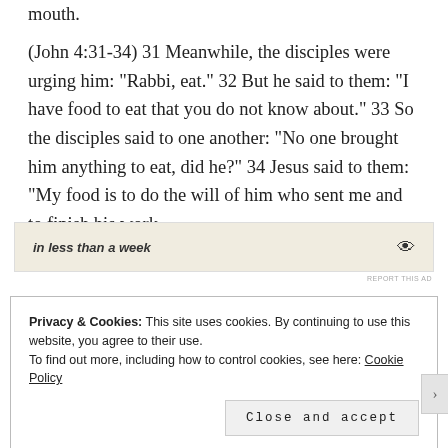mouth.
(John 4:31-34) 31 Meanwhile, the disciples were urging him: “Rabbi, eat.” 32 But he said to them: “I have food to eat that you do not know about.” 33 So the disciples said to one another: “No one brought him anything to eat, did he?” 34 Jesus said to them: “My food is to do the will of him who sent me and to finish his work.
[Figure (other): Advertisement banner with text 'in less than a week' and an eye icon on a beige background]
REPORT THIS AD
Privacy & Cookies: This site uses cookies. By continuing to use this website, you agree to their use.
To find out more, including how to control cookies, see here: Cookie Policy
Close and accept